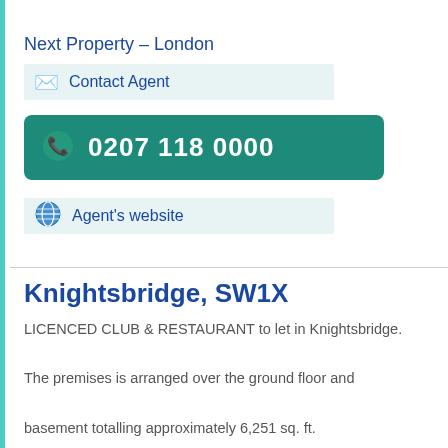Next Property – London
Contact Agent
0207 118 0000
Agent's website
Knightsbridge, SW1X
LICENCED CLUB & RESTAURANT to let in Knightsbridge.
The premises is arranged over the ground floor and basement totalling approximately 6,251 sq. ft.
Restaurant
2.7 miles from Putney